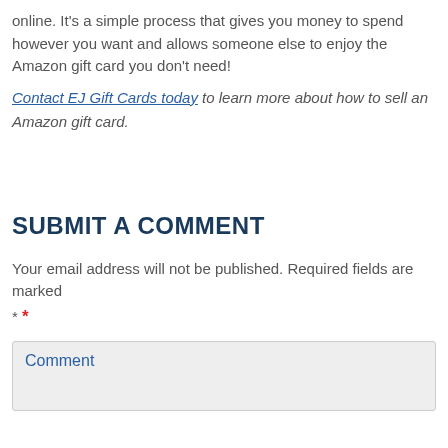online. It's a simple process that gives you money to spend however you want and allows someone else to enjoy the Amazon gift card you don't need!
Contact EJ Gift Cards today to learn more about how to sell an Amazon gift card.
SUBMIT A COMMENT
Your email address will not be published. Required fields are marked * *
Comment